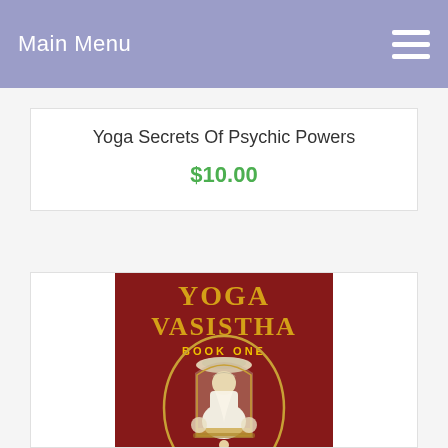Main Menu
Yoga Secrets Of Psychic Powers
$10.00
[Figure (photo): Book cover of Yoga Vasistha Book One, showing a sage/guru figure seated in meditation on a throne with decorative arch, on a dark red background with gold text reading YOGA VASISTHA BOOK ONE]